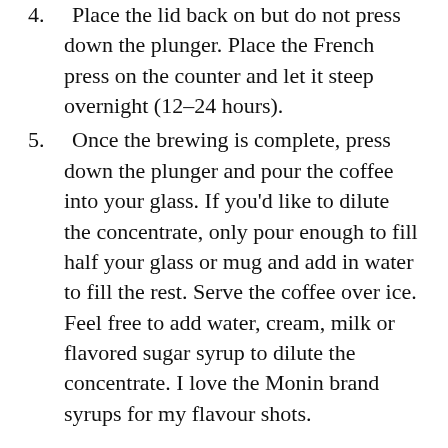4.	Place the lid back on but do not press down the plunger. Place the French press on the counter and let it steep overnight (12–24 hours).
5.	Once the brewing is complete, press down the plunger and pour the coffee into your glass. If you'd like to dilute the concentrate, only pour enough to fill half your glass or mug and add in water to fill the rest. Serve the coffee over ice. Feel free to add water, cream, milk or flavored sugar syrup to dilute the concentrate. I love the Monin brand syrups for my flavour shots.
If you don't have a French press you can do this recipe in a large jar. Then after your 12–24 hours you